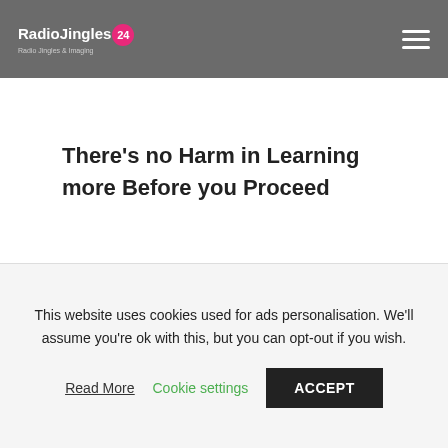RadioJingles24
There's no Harm in Learning more Before you Proceed
So, if you are looking for a new and improved way of drawing the attention of your
This website uses cookies used for ads personalisation. We'll assume you're ok with this, but you can opt-out if you wish.
Read More | Cookie settings | ACCEPT